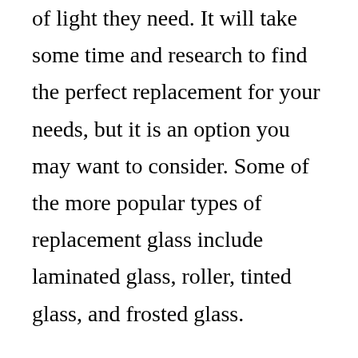of light they need. It will take some time and research to find the perfect replacement for your needs, but it is an option you may want to consider. Some of the more popular types of replacement glass include laminated glass, roller, tinted glass, and frosted glass.
A replacement window will often include a glass pane, a frame, and a glass door. These are just the basics and depending on the area you live in you may also be given instructions on what type of hardware and installation you